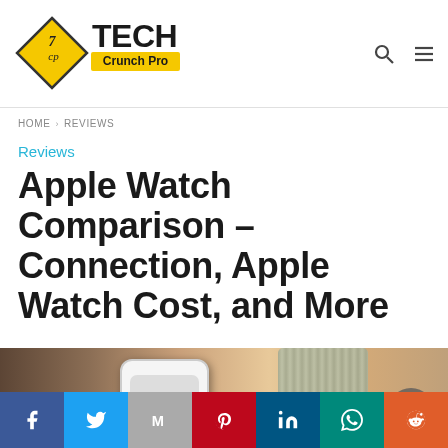Tech Crunch Pro – logo and navigation
HOME › REVIEWS
Reviews
Apple Watch Comparison – Connection, Apple Watch Cost, and More
[Figure (photo): Two Apple Watches worn on a wrist side by side – one with a white/silver case and one with a gray nylon sport loop band, shown close-up against a warm skin-tone background.]
Social share bar: Facebook, Twitter, Email, Pinterest, LinkedIn, WhatsApp, Reddit